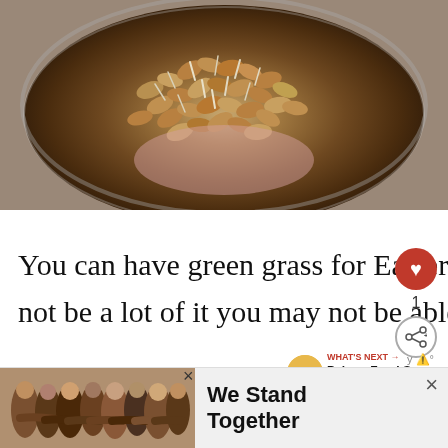[Figure (photo): Close-up photo of germinating seeds/wheat berries in a metal bowl, showing sprouting grain with small white roots emerging]
You can have green grass for Easter. It may not be outside, there may not be a lot of it you may not be able to walk
[Figure (infographic): Advertisement banner showing group of people with arms around each other with text 'We Stand Together']